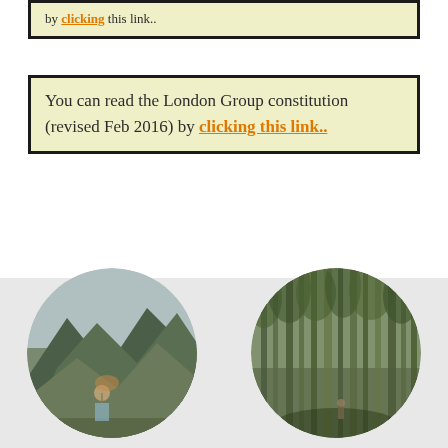by clicking this link..
You can read the London Group constitution (revised Feb 2016) by clicking this link..
[Figure (photo): Circular cropped photo of a person hiking on a mountain landscape with green hills and misty sky]
[Figure (photo): Circular cropped photo of a dense forest with tall trees and dappled light]